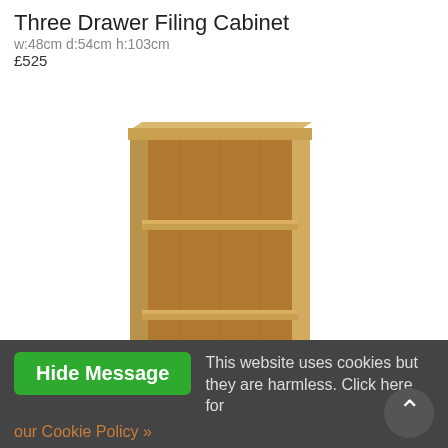Three Drawer Filing Cabinet
w:48cm d:54cm h:103cm
£525
[Figure (photo): A mid-height wooden bookcase with three open shelves and a light oak finish]
Mid-Height Bookcase 48cm Wide
w:48cm d:41cm h:103cm
£269
Hide Message   This website uses cookies but they are harmless.  Click here for our Cookie Policy »